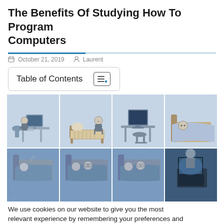The Benefits Of Studying How To Program Computers
October 21, 2019   Laurent
| Table of Contents |
| --- |
[Figure (illustration): Comic strip showing 8 panels of a person's relationship with computers and sleeping, arranged in 2 rows of 4 panels. Top row (lighter blue background): person at computer desk, person sitting on bed looking sad, empty computer desk, person lying in bed. Bottom row (darker blue background): person sleeping in bed, person sleeping with someone in bed, person sleeping in bed, person using laptop in dark.]
We use cookies on our website to give you the most relevant experience by remembering your preferences and